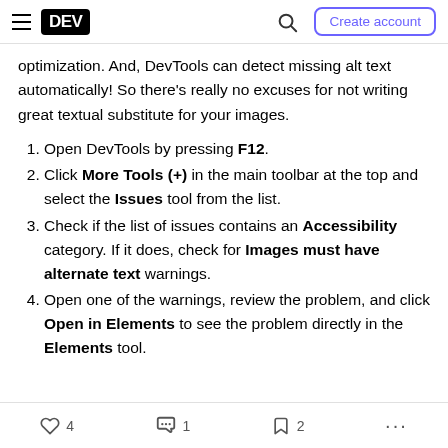DEV | Create account
optimization. And, DevTools can detect missing alt text automatically! So there's really no excuses for not writing great textual substitute for your images.
Open DevTools by pressing F12.
Click More Tools (+) in the main toolbar at the top and select the Issues tool from the list.
Check if the list of issues contains an Accessibility category. If it does, check for Images must have alternate text warnings.
Open one of the warnings, review the problem, and click Open in Elements to see the problem directly in the Elements tool.
♡ 4   1   2   ...